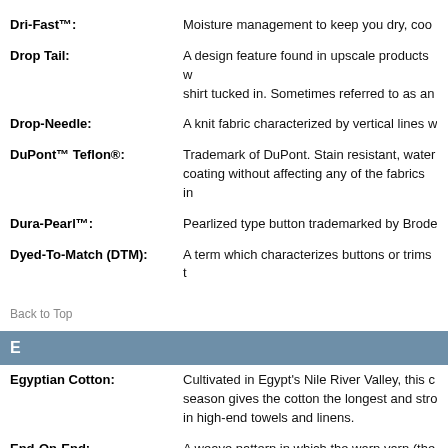Dri-Fast™: Moisture management to keep you dry, cool
Drop Tail: A design feature found in upscale products w… shirt tucked in. Sometimes referred to as an
Drop-Needle: A knit fabric characterized by vertical lines w
DuPont™ Teflon®: Trademark of DuPont. Stain resistant, water coating without affecting any of the fabrics in
Dura-Pearl™: Pearlized type button trademarked by Brode
Dyed-To-Match (DTM): A term which characterizes buttons or trims t
Back to Top
E
Egyptian Cotton: Cultivated in Egypt's Nile River Valley, this c… season gives the cotton the longest and stro… in high-end towels and linens.
End-On-End: A weave pattern in which the warp yarn (the
Enzyme-Wash: Washing process that uses a cellulose-base